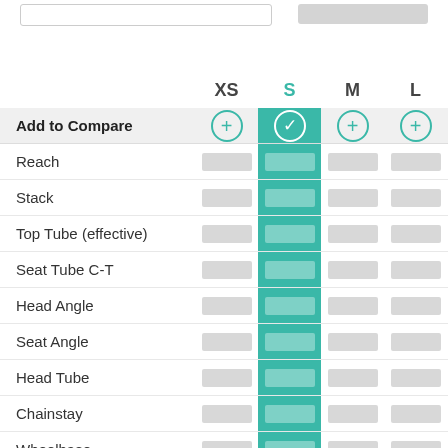|  | XS | S | M | L |
| --- | --- | --- | --- | --- |
| Add to Compare | + | ✓ | + | + |
| Reach |  |  |  |  |
| Stack |  |  |  |  |
| Top Tube (effective) |  |  |  |  |
| Seat Tube C-T |  |  |  |  |
| Head Angle |  |  |  |  |
| Seat Angle |  |  |  |  |
| Head Tube |  |  |  |  |
| Chainstay |  |  |  |  |
| Wheelbase |  |  |  |  |
| Standover |  |  |  |  |
| BB Drop |  |  |  |  |